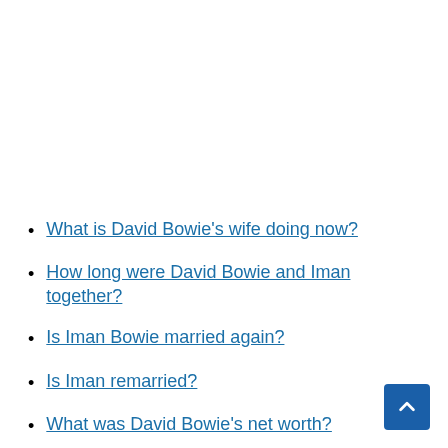What is David Bowie's wife doing now?
How long were David Bowie and Iman together?
Is Iman Bowie married again?
Is Iman remarried?
What was David Bowie's net worth?
How did David Bowie passed away?